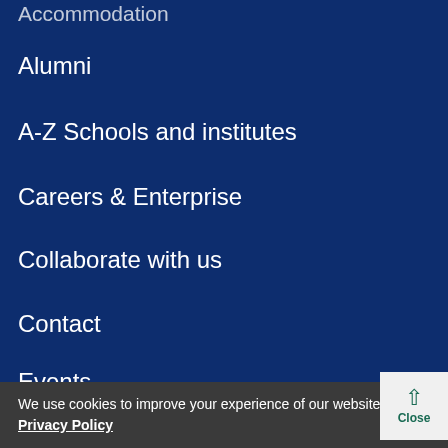Accommodation
Alumni
A-Z Schools and institutes
Careers & Enterprise
Collaborate with us
Contact
Events
Global
How to find us
International students
Jobs
Library
We use cookies to improve your experience of our website. Privacy Policy